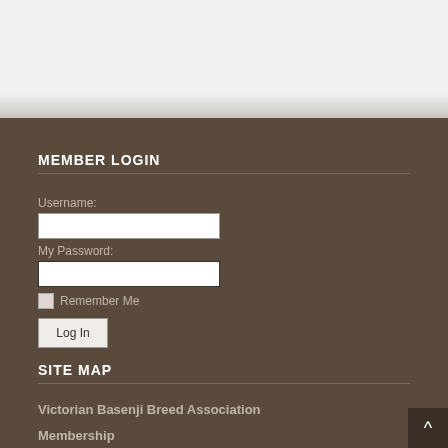MEMBER LOGIN
Username:
My Password:
Remember Me
Log In
SITE MAP
Victorian Basenji Breed Association
Membership